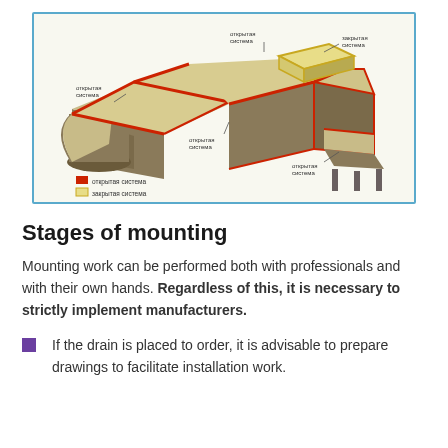[Figure (schematic): 3D isometric diagram of a building roof showing open and closed drainage systems. Red lines indicate open system (открытая система) along roof ridges and eaves; yellow/cream areas indicate closed system (закрытая система). Labels point to different roof sections identifying open and closed systems. Legend at bottom left shows red square for открытая система and yellow square for закрытая система.]
Stages of mounting
Mounting work can be performed both with professionals and with their own hands. Regardless of this, it is necessary to strictly implement manufacturers.
If the drain is placed to order, it is advisable to prepare drawings to facilitate installation work.